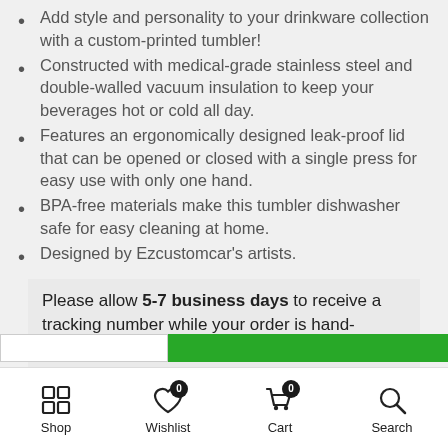Add style and personality to your drinkware collection with a custom-printed tumbler!
Constructed with medical-grade stainless steel and double-walled vacuum insulation to keep your beverages hot or cold all day.
Features an ergonomically designed leak-proof lid that can be opened or closed with a single press for easy use with only one hand.
BPA-free materials make this tumbler dishwasher safe for easy cleaning at home.
Designed by Ezcustomcar’s artists.
Please allow 5-7 business days to receive a tracking number while your order is hand-crafted.
20oz Large
Shop  Wishlist 0  Cart 0  Search